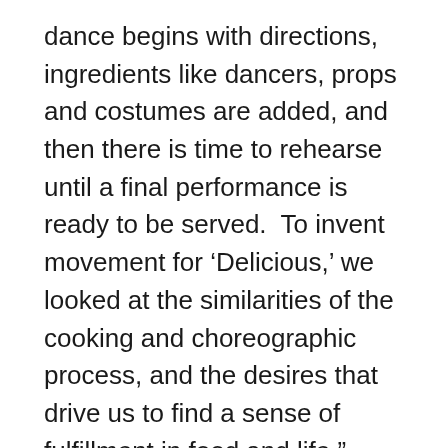dance begins with directions, ingredients like dancers, props and costumes are added, and then there is time to rehearse until a final performance is ready to be served.  To invent movement for ‘Delicious,’ we looked at the similarities of the cooking and choreographic process, and the desires that drive us to find a sense of fulfillment in food and life.”
Wild Space Dance Company has served as a company-in-residence at Lawrence since 2000, bringing professional dance to the Lawrence community and providing students principles of dance art in performance through classes and workshops taught by Loewen and members of